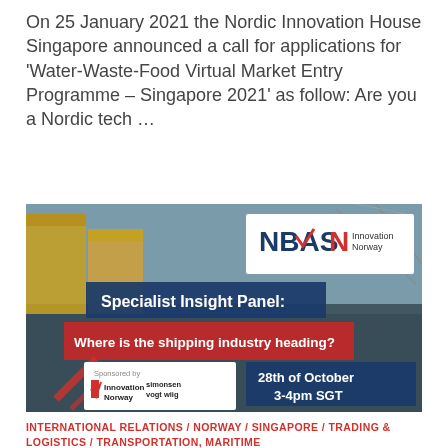On 25 January 2021 the Nordic Innovation House Singapore announced a call for applications for 'Water-Waste-Food Virtual Market Entry Programme – Singapore 2021' as follow: Are you a Nordic tech ...
READ MORE
[Figure (infographic): Event banner for NBAS and Innovation Norway Specialist Insight Panel: Where is the shipping industry heading? 28th of October 3-4pm SGT. Sponsored by Innovation Norway and Simonsen Vogt Wiig. Background shows shipping containers at a port.]
INTERNATIONAL RELATIONS / NORWAY / SINGAPORE / TRADING & LOGISTICS / TRANSPORTATION, MARITIME